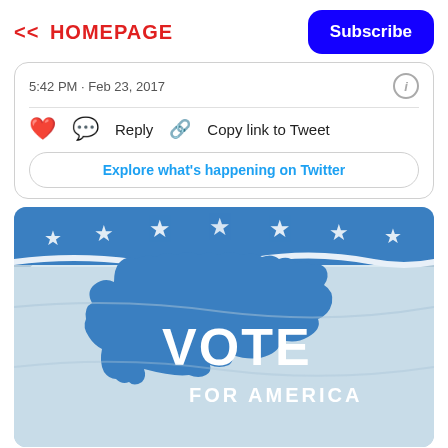<< HOMEPAGE
Subscribe
5:42 PM · Feb 23, 2017
Reply  Copy link to Tweet
Explore what's happening on Twitter
[Figure (photo): A flag with the outline of the United States in blue with text reading VOTE FOR AMERICA, surrounded by white stars on a blue band at the top]